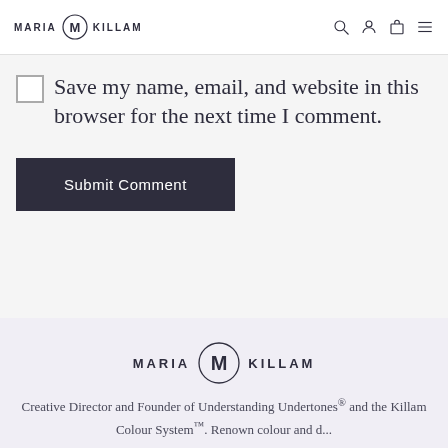MARIA KILLAM
Save my name, email, and website in this browser for the next time I comment.
Submit Comment
[Figure (logo): Maria Killam logo with circular MK monogram icon between text MARIA and KILLAM]
Creative Director and Founder of Understanding Undertones® and the Killam Colour System™. Renown colour and d...